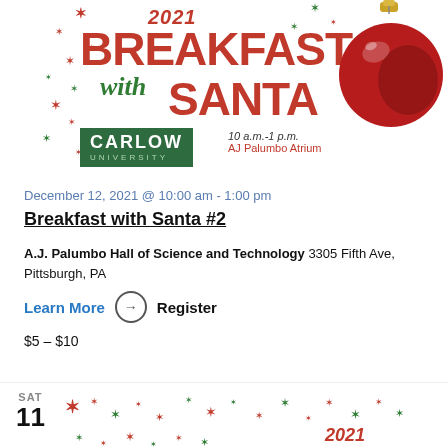[Figure (illustration): Breakfast with Santa 2021 event banner featuring red ornament, Carlow University logo, snowflake/star decorations, with text '2021 Breakfast with Santa', '10 a.m.-1 p.m. AJ Palumbo Atrium']
December 12, 2021 @ 10:00 am - 1:00 pm
Breakfast with Santa #2
A.J. Palumbo Hall of Science and Technology 3305 Fifth Ave, Pittsburgh, PA
Learn More → Register
$5 – $10
[Figure (illustration): Bottom partial preview of next event card showing SAT 11 and beginning of another Breakfast with Santa 2021 banner with star decorations]